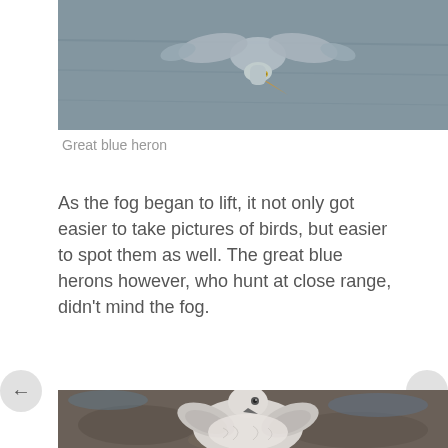[Figure (photo): A great blue heron photographed from above, appearing to dive or fly low over gray-green water. The bird's beak and eye are visible.]
Great blue heron
As the fog began to lift, it not only got easier to take pictures of birds, but easier to spot them as well. The great blue herons however, who hunt at close range, didn't mind the fog.
[Figure (photo): A seagull resting on rocky, muddy ground. The bird has light gray and white plumage and is photographed close-up from the front.]